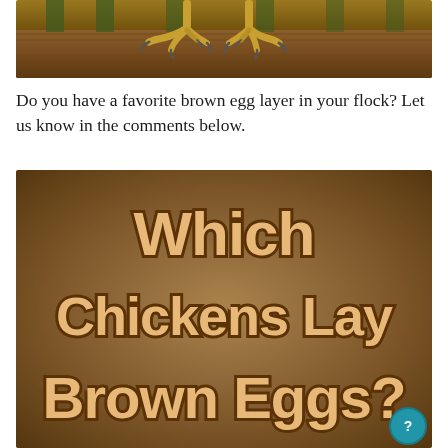[Figure (photo): Close-up photo of chicken feet/claws gripping a wooden perch or fence rail, shot from below showing yellow talons against a dark wooden background.]
Do you have a favorite brown egg layer in your flock? Let us know in the comments below.
[Figure (illustration): Promotional image with a blurred brown/earthy background overlaid with large bold text reading 'Which Chickens Lay Brown Eggs?' in a tan/sandy color with dark brown shadow/outline effect. A small circular help button is visible in the bottom right corner.]